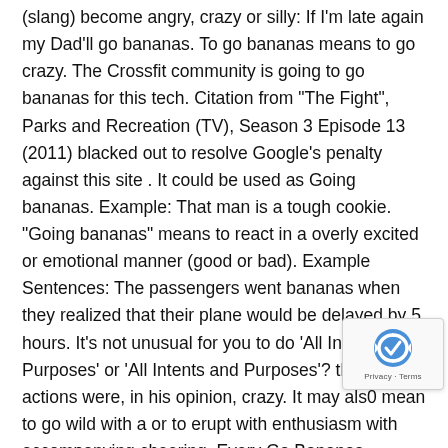(slang) become angry, crazy or silly: If I'm late again my Dad'll go bananas. To go bananas means to go crazy. The Crossfit community is going to go bananas for this tech. Citation from "The Fight", Parks and Recreation (TV), Season 3 Episode 13 (2011) blacked out to resolve Google's penalty against this site . It could be used as Going bananas. Example: That man is a tough cookie. "Going bananas" means to react in a overly excited or emotional manner (good or bad). Example Sentences: The passengers went bananas when they realized that their plane would be delayed by 5 hours. It's not unusual for you to do 'All Intensive Purposes' or 'All Intents and Purposes'? that his actions were, in his opinion, crazy. It may als0 mean to go wild with a or to erupt with enthusiasm with accompanying cheering. Every Go Bananas Meaning Collection.
[Figure (other): reCAPTCHA badge with circular arrow logo and Privacy · Terms text]